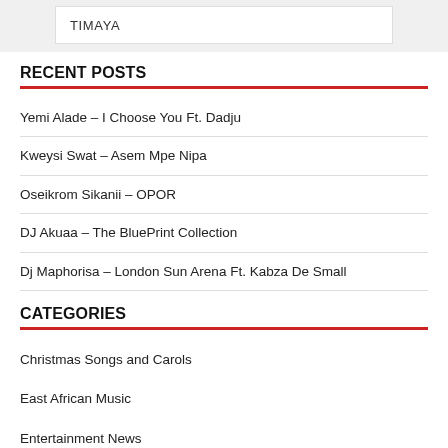TIMAYA
RECENT POSTS
Yemi Alade – I Choose You Ft. Dadju
Kweysi Swat – Asem Mpe Nipa
Oseikrom Sikanii – OPOR
DJ Akuaa – The BluePrint Collection
Dj Maphorisa – London Sun Arena Ft. Kabza De Small
CATEGORIES
Christmas Songs and Carols
East African Music
Entertainment News